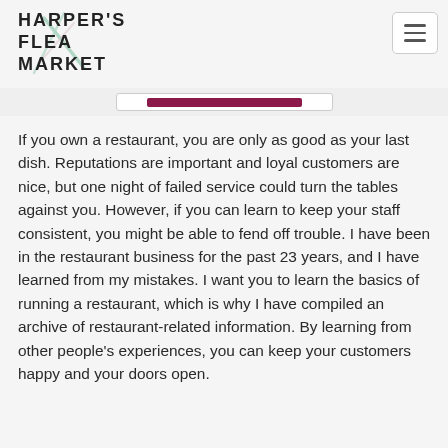HARPER'S FLEA MARKET
If you own a restaurant, you are only as good as your last dish. Reputations are important and loyal customers are nice, but one night of failed service could turn the tables against you. However, if you can learn to keep your staff consistent, you might be able to fend off trouble. I have been in the restaurant business for the past 23 years, and I have learned from my mistakes. I want you to learn the basics of running a restaurant, which is why I have compiled an archive of restaurant-related information. By learning from other people's experiences, you can keep your customers happy and your doors open.